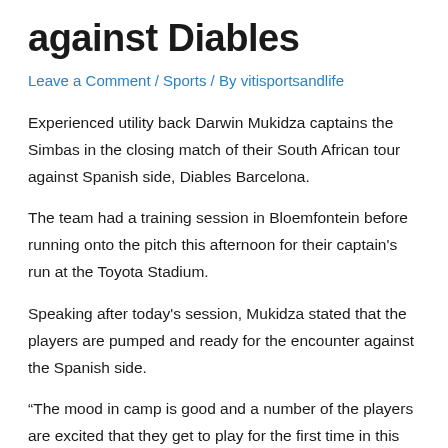against Diables
Leave a Comment / Sports / By vitisportsandlife
Experienced utility back Darwin Mukidza captains the Simbas in the closing match of their South African tour against Spanish side, Diables Barcelona.
The team had a training session in Bloemfontein before running onto the pitch this afternoon for their captain's run at the Toyota Stadium.
Speaking after today's session, Mukidza stated that the players are pumped and ready for the encounter against the Spanish side.
“The mood in camp is good and a number of the players are excited that they get to play for the first time in this tour while for other, this will be their second time. They have also picked up the pace of the game during our training sessions and we also saw